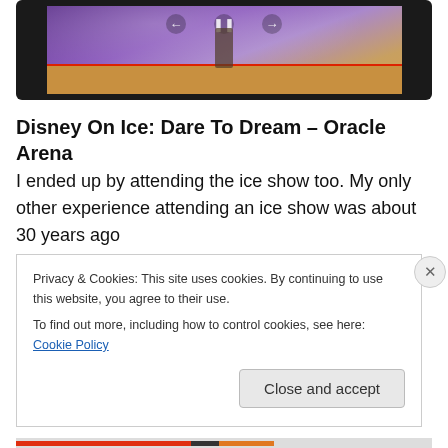[Figure (screenshot): Video player showing an ice show performance with purple fabric background and wooden floor. Controls visible at top center including back, pause, and forward buttons. Red line across bottom of video frame.]
Disney On Ice: Dare To Dream – Oracle Arena
I ended up by attending the ice show too. My only other experience attending an ice show was about 30 years ago
Privacy & Cookies: This site uses cookies. By continuing to use this website, you agree to their use.
To find out more, including how to control cookies, see here: Cookie Policy
Close and accept